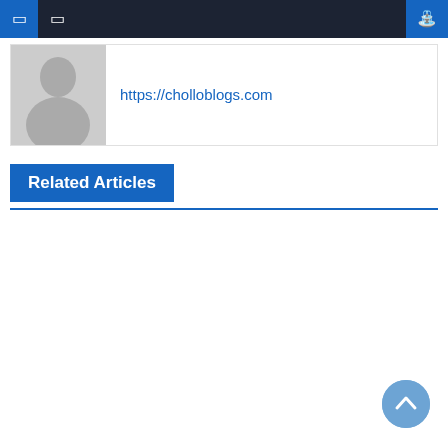Navigation bar with menu icons and search icon
[Figure (illustration): User avatar placeholder (silhouette of a person on grey background)]
https://cholloblogs.com
Related Articles